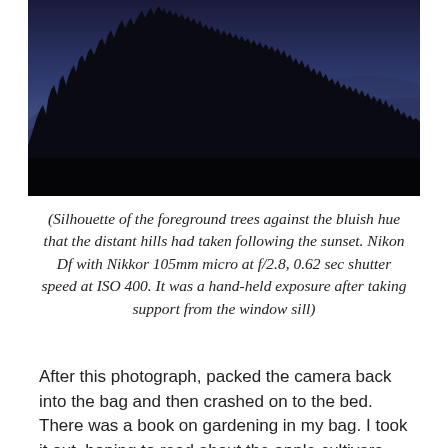[Figure (photo): Dark twilight landscape photo showing silhouettes of trees against bluish-purple haze over distant hills after sunset.]
(Silhouette of the foreground trees against the bluish hue that the distant hills had taken following the sunset. Nikon Df with Nikkor 105mm micro at f/2.8, 0.62 sec shutter speed at ISO 400. It was a hand-held exposure after taking support from the window sill)
After this photograph, packed the camera back into the bag and then crashed on to the bed. There was a book on gardening in my bag. I took it out, hoping to read about the apple cultivars